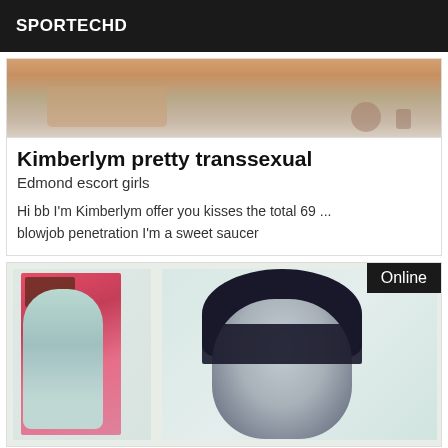SPORTECHD
[Figure (photo): Partial photo showing skin tones, upper portion cropped]
Kimberlym pretty transsexual
Edmond escort girls
Hi bb I'm Kimberlym offer you kisses the total 69 ... blowjob penetration I'm a sweet saucer
[Figure (photo): Photo showing two figures: left shows a blonde figure next to a colorful magazine, right shows a dark-haired person. An 'Online' badge appears in the top right corner.]